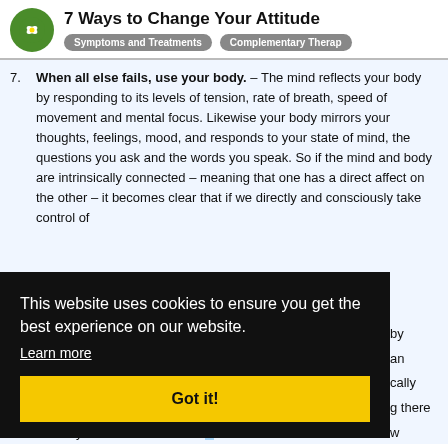7 Ways to Change Your Attitude | Symptoms and Treatments | Complementary Therapy
7. When all else fails, use your body. – The mind reflects your body by responding to its levels of tension, rate of breath, speed of movement and mental focus. Likewise your body mirrors your thoughts, feelings, mood, and responds to your state of mind, the questions you ask and the words you speak. So if the mind and body are intrinsically connected – meaning that one has a direct affect on the other – it becomes clear that if we directly and consciously take control of [body] [an] [cally] [g there] [w] [ht now] [. And] [his]
This website uses cookies to ensure you get the best experience on our website.
Learn more
Got it!
and stretch your arms into the air. N